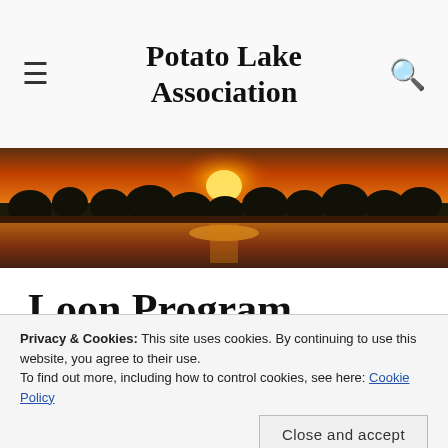Potato Lake Association
[Figure (photo): Sunset over a lake with tree silhouettes and orange/red sky reflecting on the water]
Loon Program
[Figure (photo): Close-up of grass/reeds near water with a loon visible]
The
Privacy & Cookies: This site uses cookies. By continuing to use this website, you agree to their use. To find out more, including how to control cookies, see here: Cookie Policy
began in